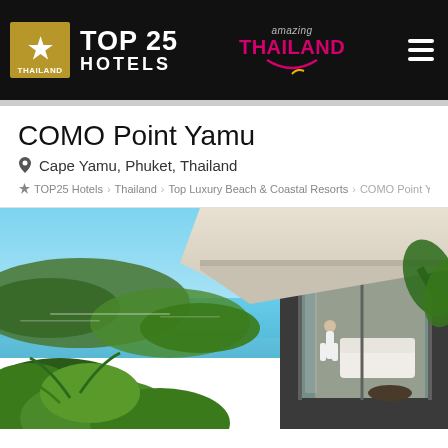TOP 25 HOTELS — amazing THAILAND (navigation header)
COMO Point Yamu
📍 Cape Yamu, Phuket, Thailand
🏠 TOP25 Hotels > Thailand > Top Luxury Beach & Coastal Resorts > COMO Point Yamu
[Figure (photo): Luxury villa at COMO Point Yamu with panoramic sea views over Phang Nga Bay, Phuket, Thailand. Shows modern architecture with large glass sliding doors, stone wall, open living area with white sofas, and a person standing inside looking out. Lush tropical vegetation and turquoise water in the background.]